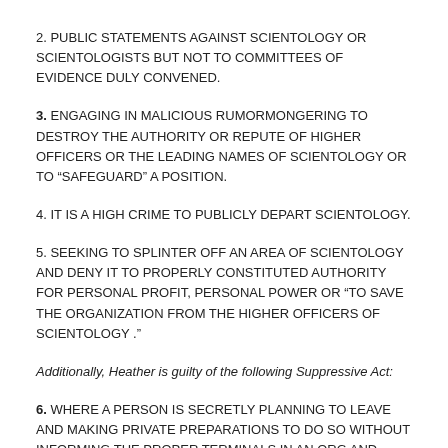2. PUBLIC STATEMENTS AGAINST SCIENTOLOGY OR SCIENTOLOGISTS BUT NOT TO COMMITTEES OF EVIDENCE DULY CONVENED.
3. ENGAGING IN MALICIOUS RUMORMONGERING TO DESTROY THE AUTHORITY OR REPUTE OF HIGHER OFFICERS OR THE LEADING NAMES OF SCIENTOLOGY OR TO "SAFEGUARD" A POSITION.
4. IT IS A HIGH CRIME TO PUBLICLY DEPART SCIENTOLOGY.
5. SEEKING TO SPLINTER OFF AN AREA OF SCIENTOLOGY AND DENY IT TO PROPERLY CONSTITUTED AUTHORITY FOR PERSONAL PROFIT, PERSONAL POWER OR "TO SAVE THE ORGANIZATION FROM THE HIGHER OFFICERS OF SCIENTOLOGY ."
Additionally, Heather is guilty of the following Suppressive Act:
6. WHERE A PERSON IS SECRETLY PLANNING TO LEAVE AND MAKING PRIVATE PREPARATIONS TO DO SO WITHOUT INFORMING THE PROPER TERMINALS IN AN ORG AND DOES LEAVE (BLOW) AND DOES NOT RETURN WITHIN A REASONABLE